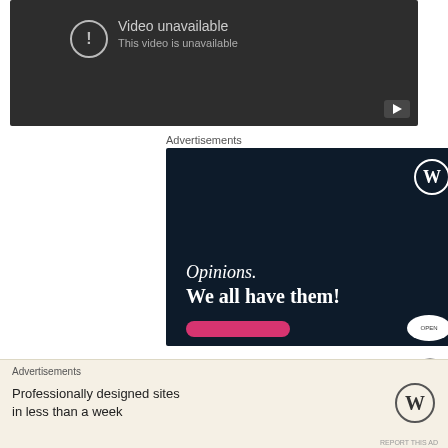[Figure (screenshot): YouTube-style video unavailable placeholder with dark background, warning icon circle, 'Video unavailable' title, 'This video is unavailable' subtitle, and YouTube play button in bottom-right corner.]
Advertisements
[Figure (screenshot): WordPress advertisement banner with dark navy background, WordPress 'W' logo in top-right, italic text 'Opinions.' and bold text 'We all have them!', a pink button at the bottom-left, and an 'OPEN' circular button at the bottom-right.]
Advertisements
[Figure (screenshot): WordPress advertisement bottom bar with beige/cream background, 'Professionally designed sites in less than a week' text and WordPress logo on the right. 'REPORT THIS AD' link at bottom-right.]